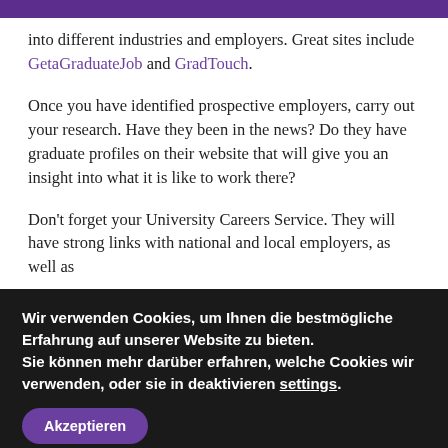into different industries and employers. Great sites include GetaGraduateJob and GradTouch.
Once you have identified prospective employers, carry out your research. Have they been in the news? Do they have graduate profiles on their website that will give you an insight into what it is like to work there?
Don't forget your University Careers Service. They will have strong links with national and local employers, as well as
Wir verwenden Cookies, um Ihnen die bestmögliche Erfahrung auf unserer Website zu bieten. Sie können mehr darüber erfahren, welche Cookies wir verwenden, oder sie in deaktivieren settings.
Akzeptieren